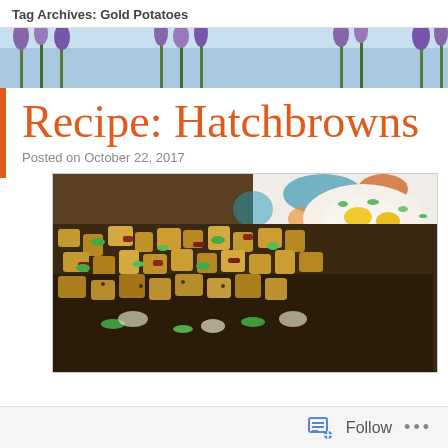Tag Archives: Gold Potatoes
[Figure (photo): Banner photo of purple lavender flowers against a blue sky]
Recipe: Hatchbrowns
Posted on October 22, 2017
[Figure (photo): Close-up photo of hatchbrowns dish with diced golden potatoes, bacon, green onions on a decorative plate with fried eggs]
Follow ...